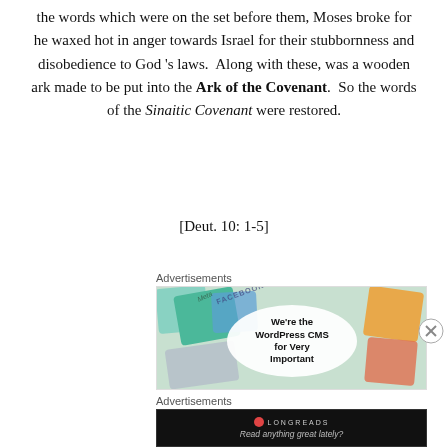the words which were on the set before them, Moses broke for he waxed hot in anger towards Israel for their stubbornness and disobedience to God 's laws.  Along with these, was a wooden ark made to be put into the Ark of the Covenant.  So the words of the Sinaitic Covenant were restored.
[Deut. 10: 1-5]
Advertisements
[Figure (screenshot): Advertisement banner showing colorful social media and app tiles in the background with a white oval in center containing bold text 'We're the WordPress CMS for Very Important Content']
Advertisements
[Figure (screenshot): Dark advertisement banner for Longreads with logo circle and text 'Read anything great lately?']